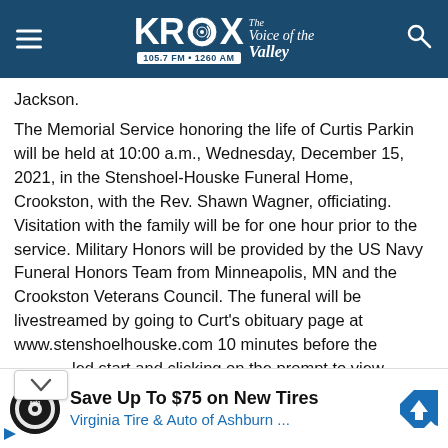KROX 105.7 FM • 1260 AM The Voice of the Valley
Jackson.
The Memorial Service honoring the life of Curtis Parkin will be held at 10:00 a.m., Wednesday, December 15, 2021, in the Stenshoel-Houske Funeral Home, Crookston, with the Rev. Shawn Wagner, officiating. Visitation with the family will be for one hour prior to the service. Military Honors will be provided by the US Navy Funeral Honors Team from Minneapolis, MN and the Crookston Veterans Council. The funeral will be livestreamed by going to Curt's obituary page at www.stenshoelhouske.com 10 minutes before the scheduled start and clicking on the prompt to view. Burial
[Figure (other): Advertisement: Save Up To $75 on New Tires - Virginia Tire & Auto of Ashburn]